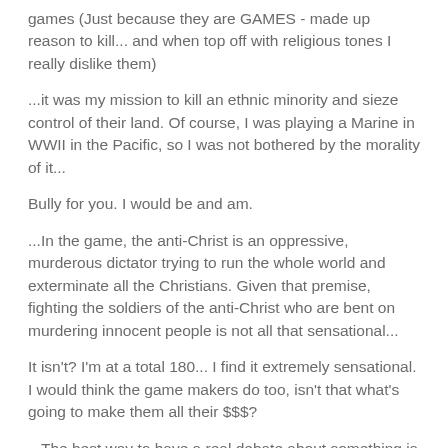games (Just because they are GAMES - made up reason to kill... and when top off with religious tones I really dislike them)
...it was my mission to kill an ethnic minority and sieze control of their land. Of course, I was playing a Marine in WWII in the Pacific, so I was not bothered by the morality of it...
Bully for you. I would be and am.
...In the game, the anti-Christ is an oppressive, murderous dictator trying to run the whole world and exterminate all the Christians. Given that premise, fighting the soldiers of the anti-Christ who are bent on murdering innocent people is not all that sensational...
It isn't? I'm at a total 180... I find it extremely sensational. I would think the game makers do too, isn't that what's going to make them all their $$$?
...The best way to have a real debate about something is not to start it off by lying about